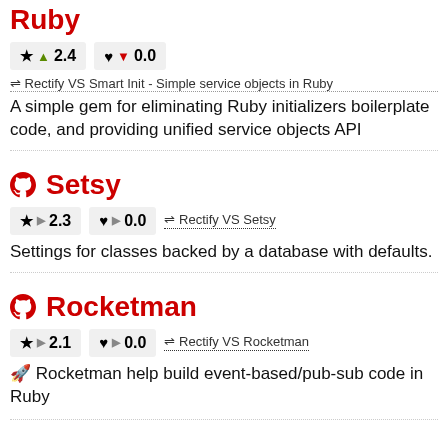Ruby
★ ▲ 2.4   ♥ ▼ 0.0
⇌ Rectify VS Smart Init - Simple service objects in Ruby
A simple gem for eliminating Ruby initializers boilerplate code, and providing unified service objects API
Setsy
★ ▶ 2.3   ♥ ▶ 0.0   ⇌ Rectify VS Setsy
Settings for classes backed by a database with defaults.
Rocketman
★ ▶ 2.1   ♥ ▶ 0.0   ⇌ Rectify VS Rocketman
🚀 Rocketman help build event-based/pub-sub code in Ruby